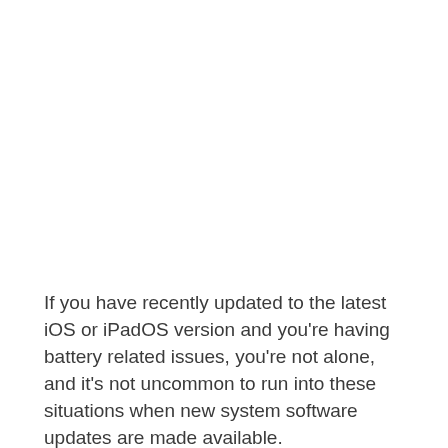If you have recently updated to the latest iOS or iPadOS version and you're having battery related issues, you're not alone, and it's not uncommon to run into these situations when new system software updates are made available.
Each year, after a major iOS update is rolled out by